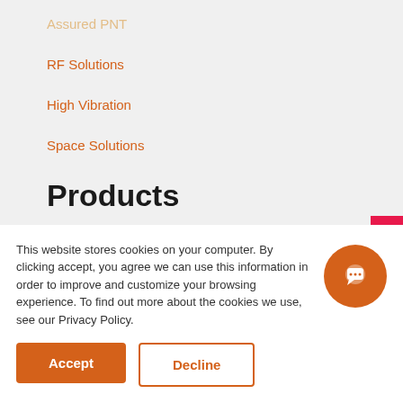Assured PNT
RF Solutions
High Vibration
Space Solutions
Products
High Performance Oscillators
Space Oscillators
Atomic Clocks
This website stores cookies on your computer. By clicking accept, you agree we can use this information in order to improve and customize your browsing experience. To find out more about the cookies we use, see our Privacy Policy.
Accept
Decline